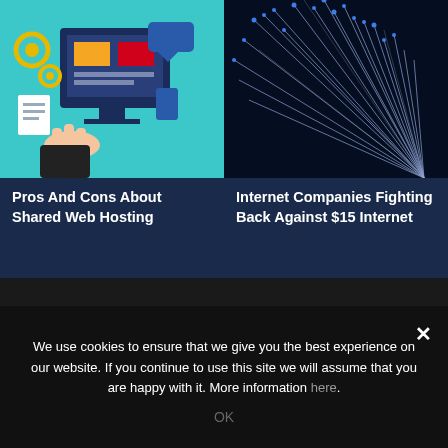[Figure (illustration): Web hosting illustration showing a computer monitor with colorful UI elements, gears, a hand pointing, and speech bubble on a teal background]
Pros And Cons About Shared Web Hosting
[Figure (photo): Close-up photo of fiber optic cables with blue glowing tips on a dark background]
Internet Companies Fighting Back Against $15 Internet
About Us   Contact Us   Terms Of Services   Privacy Policy   DMCA Policy
We use cookies to ensure that we give you the best experience on our website. If you continue to use this site we will assume that you are happy with it. More information here.
OK